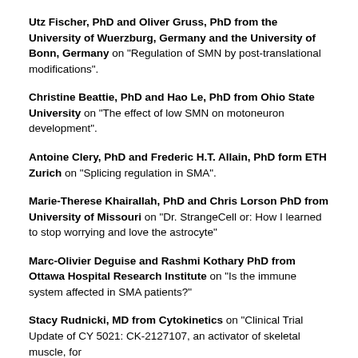Utz Fischer, PhD and Oliver Gruss, PhD from the University of Wuerzburg, Germany and the University of Bonn, Germany on "Regulation of SMN by post-translational modifications".
Christine Beattie, PhD and Hao Le, PhD from Ohio State University on "The effect of low SMN on motoneuron development".
Antoine Clery, PhD and Frederic H.T. Allain, PhD form ETH Zurich on "Splicing regulation in SMA".
Marie-Therese Khairallah, PhD and Chris Lorson PhD from University of Missouri on "Dr. StrangeCell or: How I learned to stop worrying and love the astrocyte"
Marc-Olivier Deguise and Rashmi Kothary PhD from Ottawa Hospital Research Institute on "Is the immune system affected in SMA patients?"
Stacy Rudnicki, MD from Cytokinetics on "Clinical Trial Update of CY 5021: CK-2127107, an activator of skeletal muscle, for